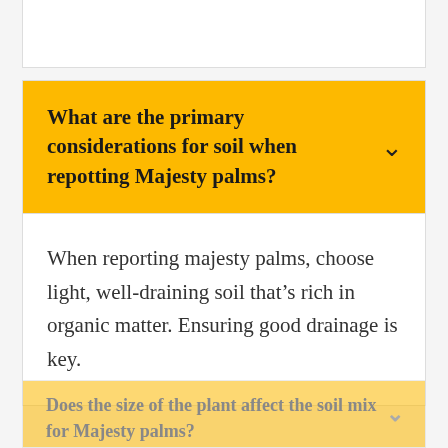What are the primary considerations for soil when repotting Majesty palms?
When reporting majesty palms, choose light, well-draining soil that's rich in organic matter. Ensuring good drainage is key.
Does the size of the plant affect the soil mix for Majesty palms?